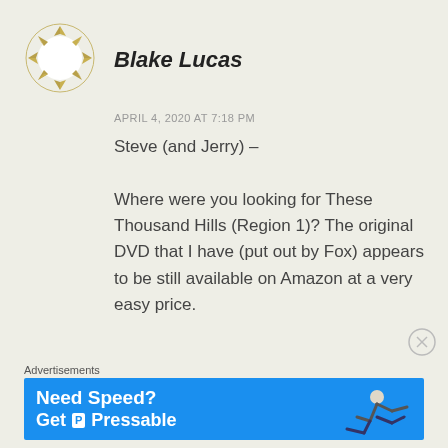[Figure (logo): Circular logo made of gold/tan triangular chevron shapes arranged in a pinwheel pattern]
Blake Lucas
APRIL 4, 2020 AT 7:18 PM
Steve (and Jerry) –

Where were you looking for These Thousand Hills (Region 1)? The original DVD that I have (put out by Fox) appears to be still available on Amazon at a very easy price.
Advertisements
[Figure (screenshot): Blue advertisement banner reading 'Need Speed? Get P Pressable' with a person flying/diving across the right side]